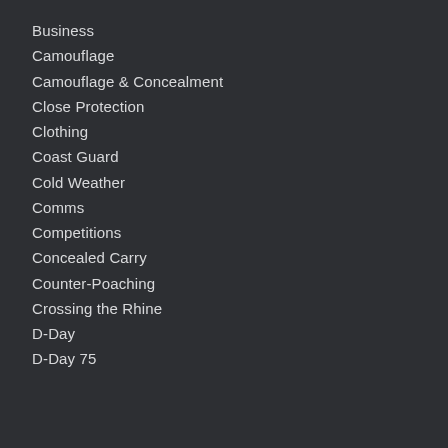Business
Camouflage
Camouflage & Concealment
Close Protection
Clothing
Coast Guard
Cold Weather
Comms
Competitions
Concealed Carry
Counter-Poaching
Crossing the Rhine
D-Day
D-Day 75